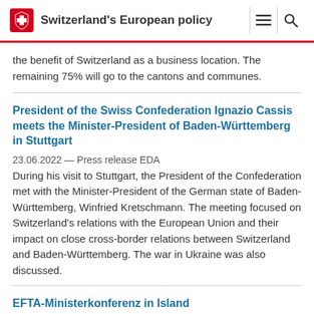Switzerland's European policy
the benefit of Switzerland as a business location. The remaining 75% will go to the cantons and communes.
President of the Swiss Confederation Ignazio Cassis meets the Minister-President of Baden-Württemberg in Stuttgart
23.06.2022 — Press release EDA
During his visit to Stuttgart, the President of the Confederation met with the Minister-President of the German state of Baden-Württemberg, Winfried Kretschmann. The meeting focused on Switzerland's relations with the European Union and their impact on close cross-border relations between Switzerland and Baden-Württemberg. The war in Ukraine was also discussed.
EFTA-Ministerkonferenz in Island
18.06.2022 — Press release Europa
Die Staatssekretärin für Wirtschaft Marie-Gabrielle Ineichen-Fleisch